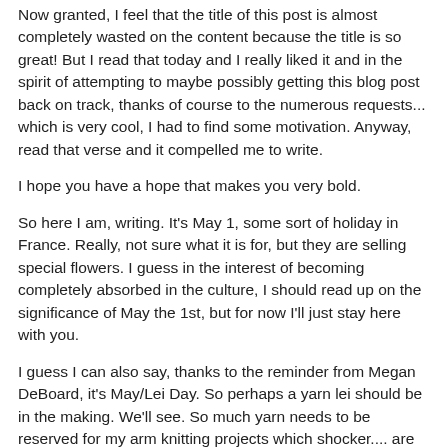Now granted, I feel that the title of this post is almost completely wasted on the content because the title is so great! But I read that today and I really liked it and in the spirit of attempting to maybe possibly getting this blog post back on track, thanks of course to the numerous requests... which is very cool, I had to find some motivation. Anyway, read that verse and it compelled me to write.
I hope you have a hope that makes you very bold.
So here I am, writing. It's May 1, some sort of holiday in France. Really, not sure what it is for, but they are selling special flowers. I guess in the interest of becoming completely absorbed in the culture, I should read up on the significance of May the 1st, but for now I'll just stay here with you.
I guess I can also say, thanks to the reminder from Megan DeBoard, it's May/Lei Day. So perhaps a yarn lei should be in the making. We'll see. So much yarn needs to be reserved for my arm knitting projects which shocker.... are also on a "petite pause."